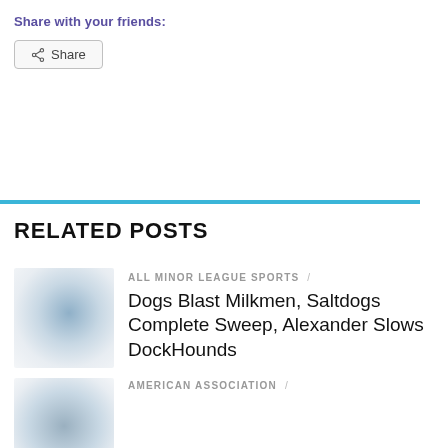Share with your friends:
[Figure (other): Share button with share icon and text 'Share']
RELATED POSTS
[Figure (photo): Blurred thumbnail image for related post 1]
ALL MINOR LEAGUE SPORTS /
Dogs Blast Milkmen, Saltdogs Complete Sweep, Alexander Slows DockHounds
[Figure (photo): Blurred thumbnail image for related post 2]
AMERICAN ASSOCIATION /